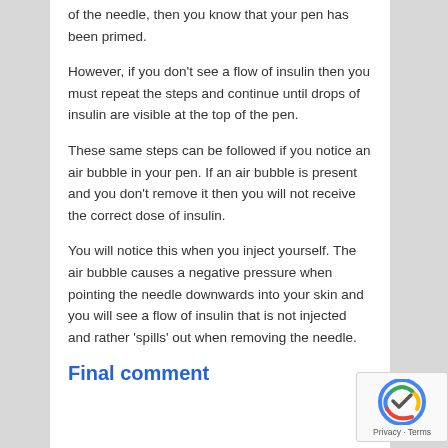of the needle, then you know that your pen has been primed.
However, if you don’t see a flow of insulin then you must repeat the steps and continue until drops of insulin are visible at the top of the pen.
These same steps can be followed if you notice an air bubble in your pen. If an air bubble is present and you don’t remove it then you will not receive the correct dose of insulin.
You will notice this when you inject yourself. The air bubble causes a negative pressure when pointing the needle downwards into your skin and you will see a flow of insulin that is not injected and rather ‘spills’ out when removing the needle.
Final comment